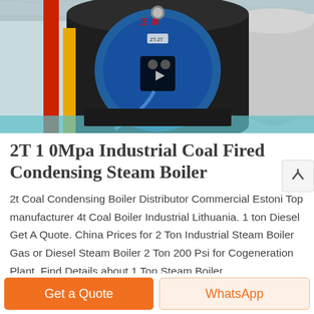[Figure (photo): Industrial boiler facility interior showing a large cylindrical coal-fired steam boiler with blue front panel, red and yellow pipes, metal grating stairs, and light blue flooring. Industrial ceiling structure visible above.]
2T 1 0Mpa Industrial Coal Fired Condensing Steam Boiler
2t Coal Condensing Boiler Distributor Commercial Estoni Top manufacturer 4t Coal Boiler Industrial Lithuania. 1 ton Diesel Get A Quote. China Prices for 2 Ton Industrial Steam Boiler Gas or Diesel Steam Boiler 2 Ton 200 Psi for Cogeneration Plant, Find Details about 1 Ton Steam Boiler,
Get a Quote
WhatsApp